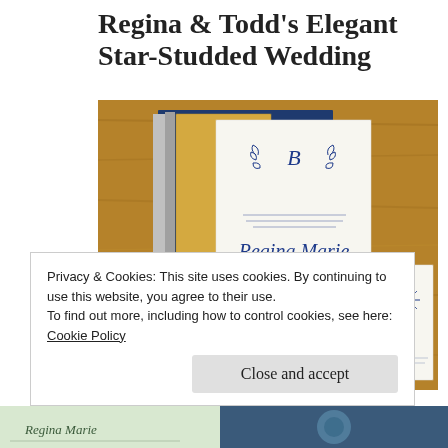Regina & Todd's Elegant Star-Studded Wedding
AUGUST 25, 2017  ~  LEAVE A COMMENT
[Figure (photo): Wedding invitation suite showing navy blue envelopes, gold paper, white invitation cards with blue botanical wreath monogram and script names 'Regina Marie and Gavin Todd', a teal folder, and a details card with star/snowflake illustrations, all arranged on a wood surface.]
Privacy & Cookies: This site uses cookies. By continuing to use this website, you agree to their use.
To find out more, including how to control cookies, see here: Cookie Policy
Close and accept